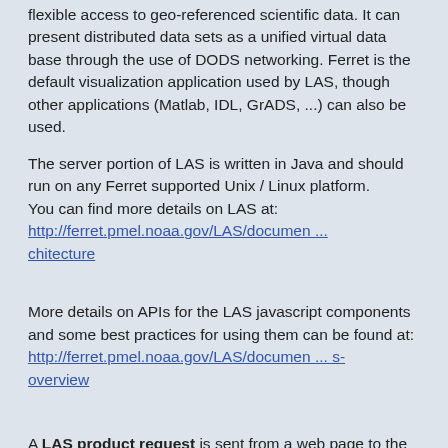flexible access to geo-referenced scientific data. It can present distributed data sets as a unified virtual data base through the use of DODS networking. Ferret is the default visualization application used by LAS, though other applications (Matlab, IDL, GrADS, ...) can also be used.
The server portion of LAS is written in Java and should run on any Ferret supported Unix / Linux platform.
You can find more details on LAS at:
http://ferret.pmel.noaa.gov/LAS/documen ... chitecture
More details on APIs for the LAS javascript components and some best practices for using them can be found at:
http://ferret.pmel.noaa.gov/LAS/documen ... s-overview
A LAS product request is sent from a web page to the server encoded in XML and it does this through a javascript API.